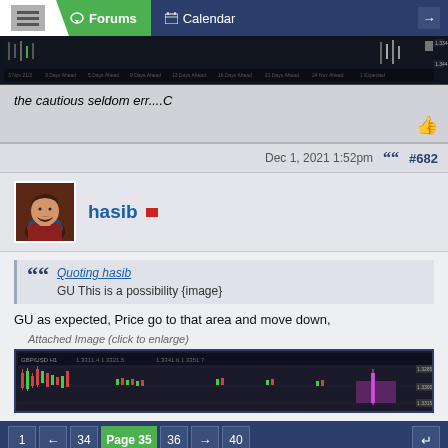Forums | Calendar
[Figure (screenshot): Trading chart strip showing candlestick price data]
the cautious seldom err....C
Dec 1, 2021 1:52pm  #682
hasib
Quoting hasib
GU This is a possibility {image}
GU as expected, Price go to that area and move down,
Attached Image (click to enlarge)
[Figure (screenshot): Trading chart showing GU price movement with purple/pink highlighted area]
1  ←  34  Page 35  36  →  40
[Figure (advertisement): Nadex advertisement: A Better Way to Trade Forex Pairs. 5-Minute Binary Option Contracts. GET STARTED.]